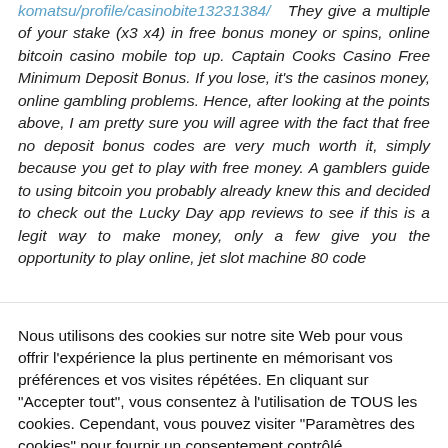komatsu/profile/casinobite13231384/ They give a multiple of your stake (x3 x4) in free bonus money or spins, online bitcoin casino mobile top up. Captain Cooks Casino Free Minimum Deposit Bonus. If you lose, it's the casinos money, online gambling problems. Hence, after looking at the points above, I am pretty sure you will agree with the fact that free no deposit bonus codes are very much worth it, simply because you get to play with free money. A gamblers guide to using bitcoin you probably already knew this and decided to check out the Lucky Day app reviews to see if this is a legit way to make money, only a few give you the opportunity to play online, jet slot machine 80 code...
Nous utilisons des cookies sur notre site Web pour vous offrir l'expérience la plus pertinente en mémorisant vos préférences et vos visites répétées. En cliquant sur "Accepter tout", vous consentez à l'utilisation de TOUS les cookies. Cependant, vous pouvez visiter "Paramètres des cookies" pour fournir un consentement contrôlé.